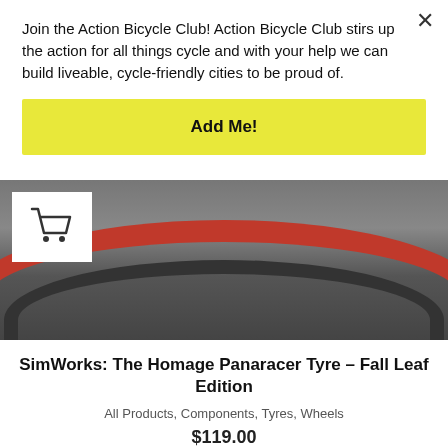Join the Action Bicycle Club! Action Bicycle Club stirs up the action for all things cycle and with your help we can build liveable, cycle-friendly cities to be proud of.
Add Me!
[Figure (photo): Close-up photo of a bicycle tyre on pavement, with red sidewall, partially visible. A white shopping cart icon badge is overlaid on the upper left.]
SimWorks: The Homage Panaracer Tyre – Fall Leaf Edition
All Products, Components, Tyres, Wheels
$119.00
[Figure (photo): Partial photo of a dark bicycle tyre/components on a surface, bottom portion of another product listing.]